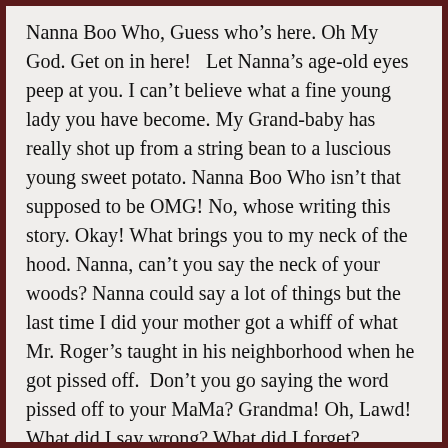Nanna Boo Who, Guess who’s here. Oh My God. Get on in here!   Let Nanna’s age-old eyes peep at you. I can’t believe what a fine young lady you have become. My Grand-baby has really shot up from a string bean to a luscious young sweet potato. Nanna Boo Who isn’t that supposed to be OMG! No, whose writing this story. Okay! What brings you to my neck of the hood. Nanna, can’t you say the neck of your woods? Nanna could say a lot of things but the last time I did your mother got a whiff of what Mr. Roger’s taught in his neighborhood when he got pissed off.  Don’t you go saying the word pissed off to your MaMa? Grandma! Oh, Lawd! What did I say wrong? What did I forget? Whenever you call me out as Grandma instead of Nanna Boo Who something has gone south. Did you forget my birthday?